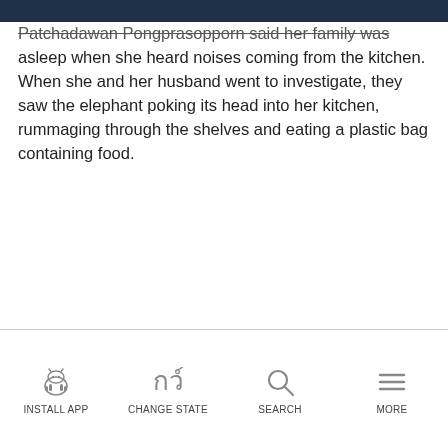Patchadawan Pongprasopporn said her family was asleep when she heard noises coming from the kitchen. When she and her husband went to investigate, they saw the elephant poking its head into her kitchen, rummaging through the shelves and eating a plastic bag containing food.
INSTALL APP | CHANGE STATE | SEARCH | MORE